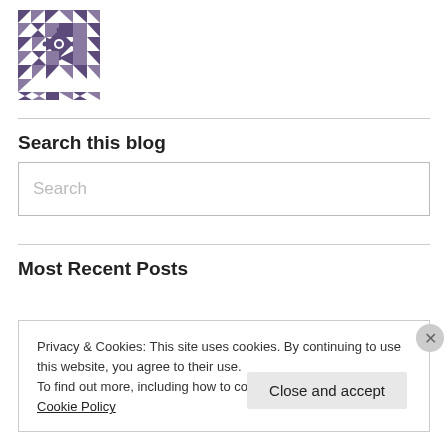[Figure (logo): Decorative geometric quilt-pattern logo in purple/dark purple on white]
Search this blog
Search (placeholder text in search box)
Most Recent Posts
Inviting Life
Privacy & Cookies: This site uses cookies. By continuing to use this website, you agree to their use.
To find out more, including how to control cookies, see here: Cookie Policy
Close and accept